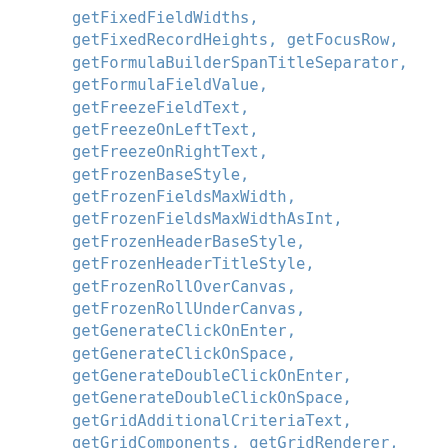getFixedFieldWidths, getFixedRecordHeights, getFocusRow, getFormulaBuilderSpanTitleSeparator, getFormulaFieldValue, getFreezeFieldText, getFreezeOnLeftText, getFreezeOnRightText, getFrozenBaseStyle, getFrozenFieldsMaxWidth, getFrozenFieldsMaxWidthAsInt, getFrozenHeaderBaseStyle, getFrozenHeaderTitleStyle, getFrozenRollOverCanvas, getFrozenRollUnderCanvas, getGenerateClickOnEnter, getGenerateClickOnSpace, getGenerateDoubleClickOnEnter, getGenerateDoubleClickOnSpace, getGridAdditionalCriteriaText, getGridComponents, getGridRenderer,